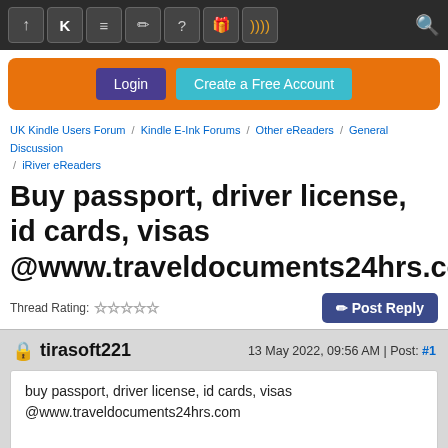[Figure (screenshot): Dark toolbar with icons: up arrow, K, book, pencil, question mark, gift, RSS feed, and search icon on right]
[Figure (screenshot): Orange banner with Login (purple button) and Create a Free Account (teal button)]
UK Kindle Users Forum / Kindle E-Ink Forums / Other eReaders / General Discussion / iRiver eReaders
Buy passport, driver license, id cards, visas @www.traveldocuments24hrs.com
Thread Rating: ☆☆☆☆☆
✏ Post Reply
tirasoft221    13 May 2022, 09:56 AM | Post: #1
buy passport, driver license, id cards, visas @www.traveldocuments24hrs.com

buy passport, driver license, id cards, visas @www.traveldocuments24hrs.com